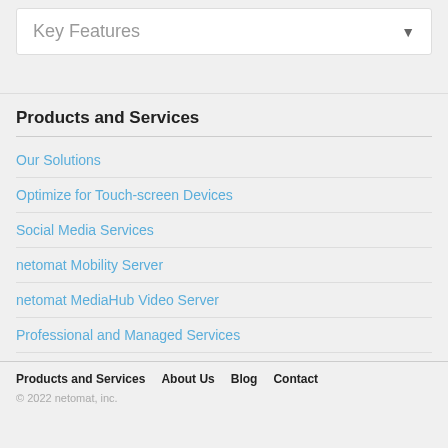Key Features
Products and Services
Our Solutions
Optimize for Touch-screen Devices
Social Media Services
netomat Mobility Server
netomat MediaHub Video Server
Professional and Managed Services
Products and Services   About Us   Blog   Contact
© 2022 netomat, inc.